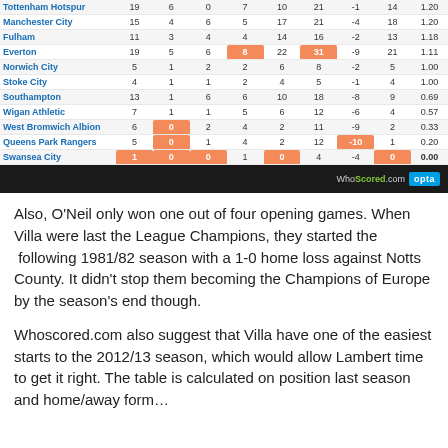| Team | GP | W | D | L | GF | GA | GD | Pts | Rating |
| --- | --- | --- | --- | --- | --- | --- | --- | --- | --- |
| Tottenham Hotspur | 19 | 6 | 0 | 7 | 10 | 21 | -1 | 14 | 1.20 |
| Manchester City | 15 | 4 | 6 | 5 | 17 | 21 | -4 | 18 | 1.20 |
| Fulham | 11 | 3 | 4 | 4 | 14 | 16 | -2 | 13 | 1.18 |
| Everton | 19 | 5 | 6 | 8 | 22 | 31 | -9 | 21 | 1.11 |
| Norwich City | 5 | 1 | 2 | 2 | 6 | 8 | -2 | 5 | 1.00 |
| Stoke City | 4 | 1 | 1 | 2 | 4 | 5 | -1 | 4 | 1.00 |
| Southampton | 13 | 1 | 6 | 6 | 10 | 18 | -8 | 9 | 0.69 |
| Wigan Athletic | 7 | 1 | 1 | 5 | 6 | 12 | -6 | 4 | 0.57 |
| West Bromwich Albion | 6 | 0 | 2 | 4 | 2 | 11 | -9 | 2 | 0.33 |
| Queens Park Rangers | 5 | 0 | 1 | 4 | 2 | 12 | -10 | 1 | 0.20 |
| Swansea City | 1 | 0 | 0 | 1 | 0 | 4 | -4 | 0 | 0.00 |
Also, O'Neil only won one out of four opening games. When Villa were last the League Champions, they started the following 1981/82 season with a 1-0 home loss against Notts County. It didn't stop them becoming the Champions of Europe by the season's end though.
Whoscored.com also suggest that Villa have one of the easiest starts to the 2012/13 season, which would allow Lambert time to get it right. The table is calculated on position last season and home/away form…